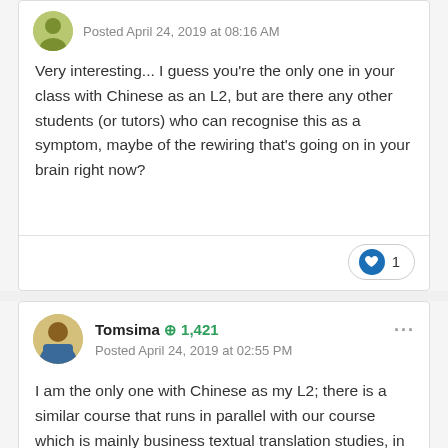Posted April 24, 2019 at 08:16 AM
Very interesting... I guess you're the only one in your class with Chinese as an L2, but are there any other students (or tutors) who can recognise this as a symptom, maybe of the rewiring that's going on in your brain right now?
❤ 1
Tomsima ⊕ 1,421
Posted April 24, 2019 at 02:55 PM
I am the only one with Chinese as my L2; there is a similar course that runs in parallel with our course which is mainly business textual translation studies, in which there is an american student. Their course also occasionally holds mock business conferences, and when I have bumped into her, she has voiced similar problems with interpreting as what I've written here. That being said, my classmates mostly seem to have instinctive reactions based on context, and certainly dont